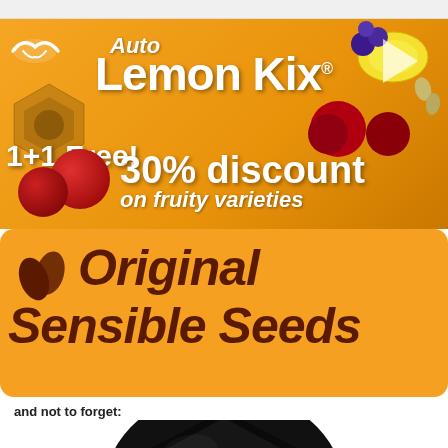[Figure (illustration): Auto Lemon Kix advertisement banner with orange background, fruits, and text: '1+1 Free! 30% discount on fruity varieties']
[Figure (logo): Original Sensible Seeds logo on orange rounded rectangle background with brown italic text and seed icon]
and not to forget:
[Figure (photo): Close-up photo of a large black cannabis seed on white background]